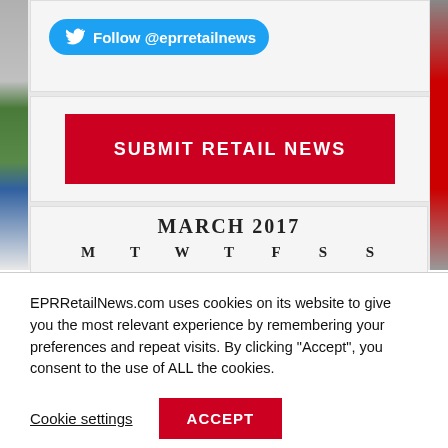[Figure (other): Twitter follow button with @eprretailnews handle in blue rounded pill shape]
[Figure (other): Red button labeled SUBMIT RETAIL NEWS]
[Figure (other): Partial calendar widget showing MARCH 2017 with day headers M T W T F S S]
EPRRetailNews.com uses cookies on its website to give you the most relevant experience by remembering your preferences and repeat visits. By clicking “Accept”, you consent to the use of ALL the cookies.
Cookie settings
ACCEPT